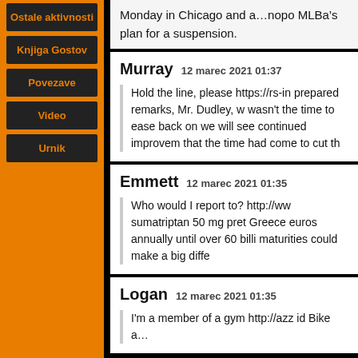Ostale aktivnosti
Knjiga Gostov
Povezave
Video
Urnik
Monday in Chicago and a…nopo... MLBâs plan for a suspension.
Murray  12 marec 2021 01:37
Hold the line, please https://rs-in... prepared remarks, Mr. Dudley, w... wasn't the time to ease back on... we will see continued improvem... that the time had come to cut th...
Emmett  12 marec 2021 01:35
Who would I report to? http://ww... sumatriptan 50 mg pret Greece ... euros annually until over 60 billi... maturities could make a big diffe...
Logan  12 marec 2021 01:35
I'm a member of a gym http://azz... id Bike a…